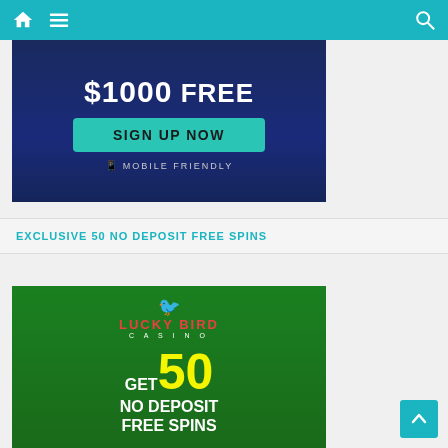Navigation bar with home, menu, and search icons
[Figure (screenshot): Casino advertisement banner showing '$1000 FREE' text, a 'SIGN UP NOW' teal button, and 'MOBILE FRIENDLY' text on a dark blue background]
EXCLUSIVE 50 NO DEPOSIT FREE SPINS
[Figure (screenshot): Lucky Bird Casino advertisement banner showing logo, 'GET 50 NO DEPOSIT FREE SPINS' text on green background with a character illustration]